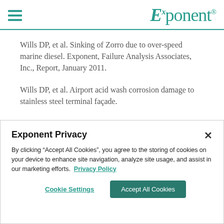Exponent® (logo with hamburger menu)
Wills DP, et al. Sinking of Zorro due to over-speed marine diesel. Exponent, Failure Analysis Associates, Inc., Report, January 2011.
Wills DP, et al. Airport acid wash corrosion damage to stainless steel terminal façade.
Exponent Privacy
By clicking "Accept All Cookies", you agree to the storing of cookies on your device to enhance site navigation, analyze site usage, and assist in our marketing efforts. Privacy Policy
Cookie Settings | Accept All Cookies